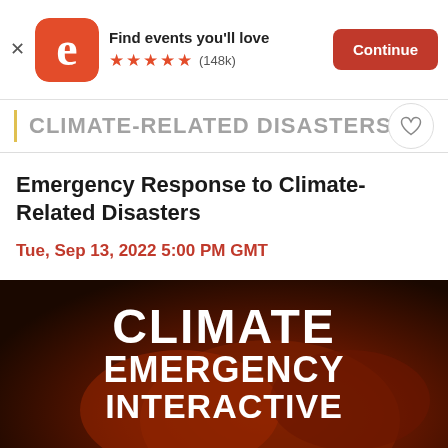[Figure (screenshot): Eventbrite app banner ad showing orange logo with 'e', text 'Find events you'll love', five orange stars rating, (148k) reviews, and a red 'Continue' button]
Emergency Response to Climate-Related Disasters
Tue, Sep 13, 2022 5:00 PM GMT
Free
[Figure (photo): Dark fiery background image with bold white text reading 'CLIMATE EMERGENCY INTERACTIVE']